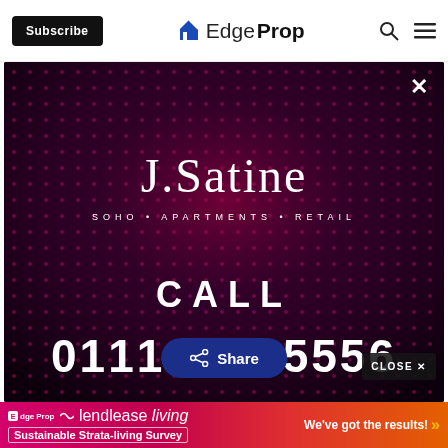Subscribe | EdgeProp
[Figure (illustration): J.Satine advertisement overlay on EdgeProp website. Dark purple/black radial dot-pattern background with 'J.Satine' in large serif white font, 'SOHO • APARTMENTS • RETAIL' subtitle, 'CALL' text, and phone number '0111 7__ 5556'. A share button and CLOSE button appear over the ad.]
[Figure (illustration): Bottom banner: EdgeProp and lendlease living logos with 'Sustainable Strata-living Survey' text on pink/red gradient, and 'We've got the results!' with yellow arrows on right side.]